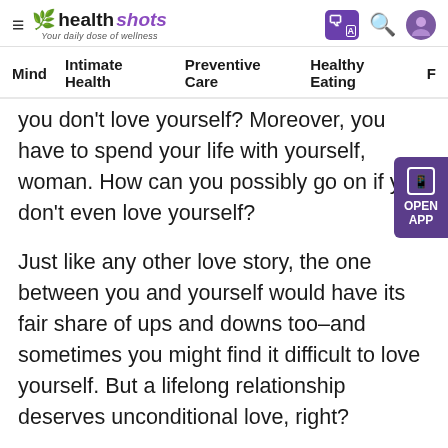healthshots — Your daily dose of wellness
Mind | Intimate Health | Preventive Care | Healthy Eating
you don't love yourself? Moreover, you have to spend your life with yourself, woman. How can you possibly go on if you don't even love yourself?
Just like any other love story, the one between you and yourself would have its fair share of ups and downs too–and sometimes you might find it difficult to love yourself. But a lifelong relationship deserves unconditional love, right?
So, here's how you can love yourself, no matter